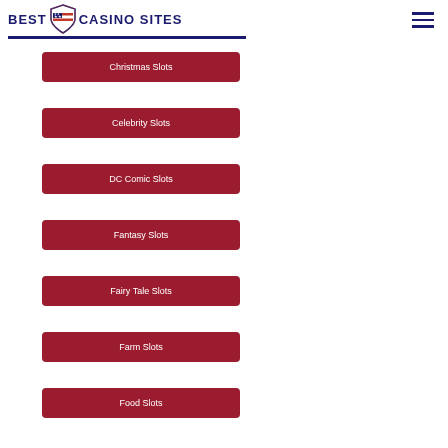BEST USA CASINO SITES
Christmas Slots
Celebrity Slots
DC Comic Slots
Fantasy Slots
Fairy Tale Slots
Farm Slots
Food Slots